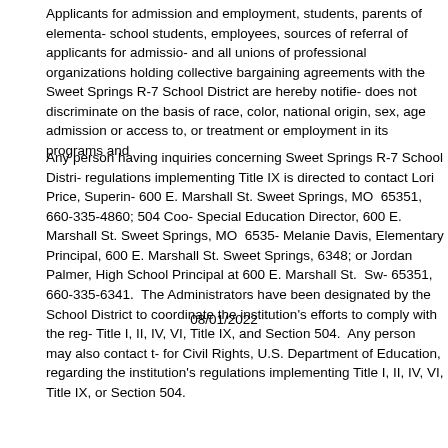Applicants for admission and employment, students, parents of elementary school students, employees, sources of referral of applicants for admission and all unions of professional organizations holding collective bargaining agreements with the Sweet Springs R-7 School District are hereby notified does not discriminate on the basis of race, color, national origin, sex, age admission or access to, or treatment or employment in its programs and
Any person having inquiries concerning Sweet Springs R-7 School District regulations implementing Title IX is directed to contact Lori Price, Superintendent 600 E. Marshall St. Sweet Springs, MO  65351, 660-335-4860; 504 Coordinator/Special Education Director, 600 E. Marshall St. Sweet Springs, MO  65351; Melanie Davis, Elementary Principal, 600 E. Marshall St. Sweet Springs, 660-335-6348; or Jordan Palmer, High School Principal at 600 E. Marshall St.  Sweet Springs 65351, 660-335-6341.  The Administrators have been designated by the Sweet Springs School District to coordinate the institution's efforts to comply with the regulations of Title I, II, IV, VI, Title IX, and Section 504.  Any person may also contact the Office for Civil Rights, U.S. Department of Education, regarding the institution's compliance regulations implementing Title I, II, IV, VI, Title IX, or Section 504.
08/01/2022